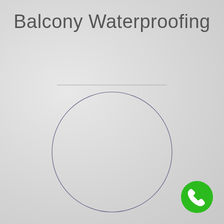Balcony Waterproofing
[Figure (illustration): A thin dark blue outlined circle centered on a light grey textured background, representing a decorative or profile image placeholder.]
[Figure (illustration): A green circular phone button icon with a white telephone handset symbol, positioned in the bottom-right corner.]